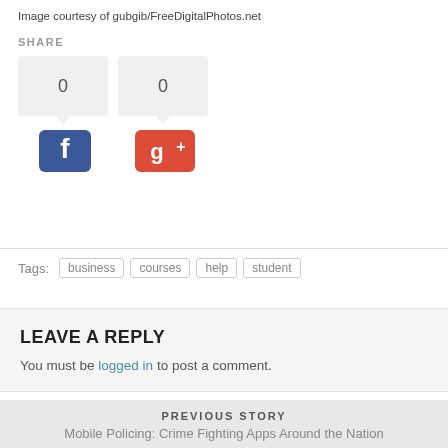Image courtesy of gubgib/FreeDigitalPhotos.net
SHARE
[Figure (infographic): Share buttons showing Facebook and Google+ with count boxes displaying 0 each]
Tags: business courses help student
LEAVE A REPLY
You must be logged in to post a comment.
PREVIOUS STORY
Mobile Policing: Crime Fighting Apps Around the Nation